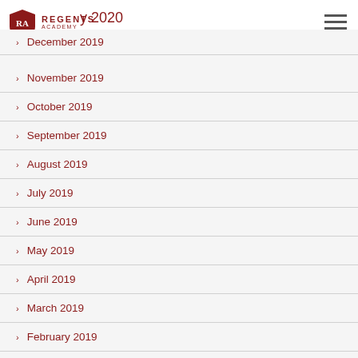Regents Academy
January 2020
December 2019
November 2019
October 2019
September 2019
August 2019
July 2019
June 2019
May 2019
April 2019
March 2019
February 2019
January 2019
December 2018
November 2018
October 2018
September 2018